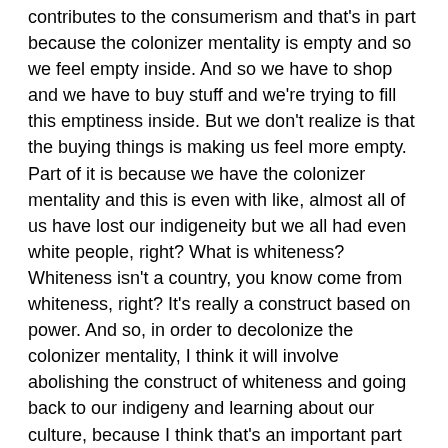contributes to the consumerism and that's in part because the colonizer mentality is empty and so we feel empty inside. And so we have to shop and we have to buy stuff and we're trying to fill this emptiness inside. But we don't realize is that the buying things is making us feel more empty. Part of it is because we have the colonizer mentality and this is even with like, almost all of us have lost our indigeneity but we all had even white people, right? What is whiteness? Whiteness isn't a country, you know come from whiteness, right? It's really a construct based on power. And so, in order to decolonize the colonizer mentality, I think it will involve abolishing the construct of whiteness and going back to our indigeny and learning about our culture, because I think that's an important part of filling that emptiness. And that emptiness, because Western society or the colonizer has no culture, they steal and that's why cultural appropriation is so prevailing. And that's also why I think connecting back to their roots could begin to heal that.
Host 2:17
I think it's really interesting how you talk about whiteness as a construct of power in this colonized perspective of elements of the earth, whether it's people or animals or rocks or plant and tree family people. What is the perspective on the earth and things